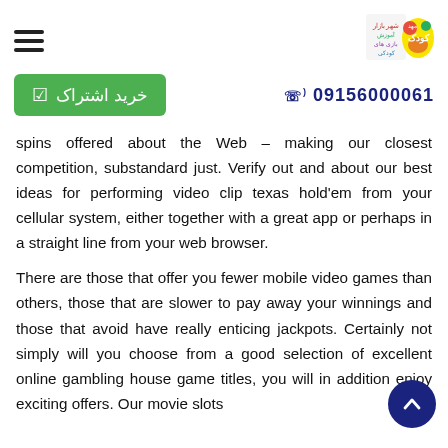[Figure (logo): Website logo with Persian text and colorful cartoon characters on the right side of the header]
[Figure (other): Hamburger menu icon (three horizontal lines) on the left side of the header]
[Figure (other): Green button with Persian text 'خرید اشتراک' (Buy Subscription) with a calendar icon]
09156000061 with phone icon
spins offered about the Web – making our closest competition, substandard just. Verify out and about our best ideas for performing video clip texas hold'em from your cellular system, either together with a great app or perhaps in a straight line from your web browser.
There are those that offer you fewer mobile video games than others, those that are slower to pay away your winnings and those that avoid have really enticing jackpots. Certainly not simply will you choose from a good selection of excellent online gambling house game titles, you will in addition enjoy exciting offers. Our movie slots